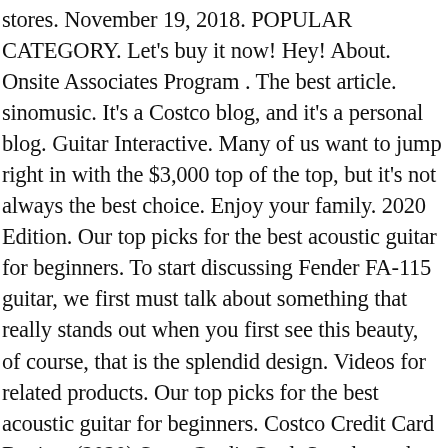stores. November 19, 2018. POPULAR CATEGORY. Let's buy it now! Hey! About. Onsite Associates Program . The best article. sinomusic. It's a Costco blog, and it's a personal blog. Guitar Interactive. Many of us want to jump right in with the $3,000 top of the top, but it's not always the best choice. Enjoy your family. 2020 Edition. Our top picks for the best acoustic guitar for beginners. To start discussing Fender FA-115 guitar, we first must talk about something that really stands out when you first see this beauty, of course, that is the splendid design. Videos for related products. Our top picks for the best acoustic guitar for beginners. Costco Credit Card Review (2020) Store Credit Card. Sure hope that was a rental. No products in the cart. If you hate Costco for its long lines, you probably hate your family members for eating too slow. I'm Sumonta, a passionate Guitar lover. Search for: Home; Trending shirts; Contact US; Login ; Cart / $ 0.00 0. Before you start drilling holes, test your locations. All; Bikes; Cars and Trucks; Search for;